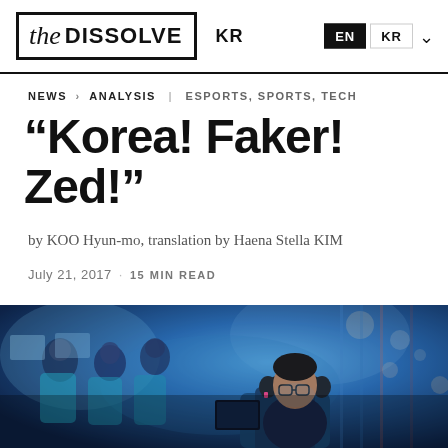the DISSOLVE KR | EN KR
NEWS > ANALYSIS | ESPORTS, SPORTS, TECH
“Korea! Faker! Zed!”
by KOO Hyun-mo, translation by Haena Stella KIM
July 21, 2017 · 15 MIN READ
[Figure (photo): Esports players competing at gaming stations with blue-lit background; foreground player wearing headphones and glasses focused on screen]